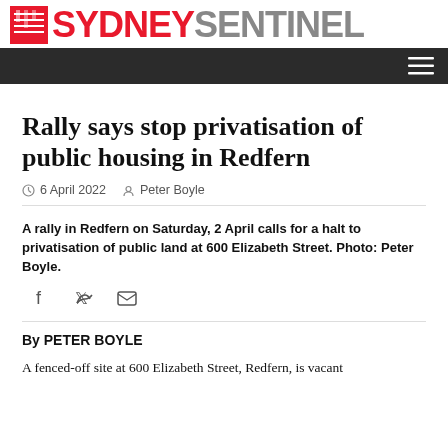SYDNEY SENTINEL
Rally says stop privatisation of public housing in Redfern
6 April 2022  Peter Boyle
A rally in Redfern on Saturday, 2 April calls for a halt to privatisation of public land at 600 Elizabeth Street. Photo: Peter Boyle.
By PETER BOYLE
A fenced-off site at 600 Elizabeth Street, Redfern, is vacant